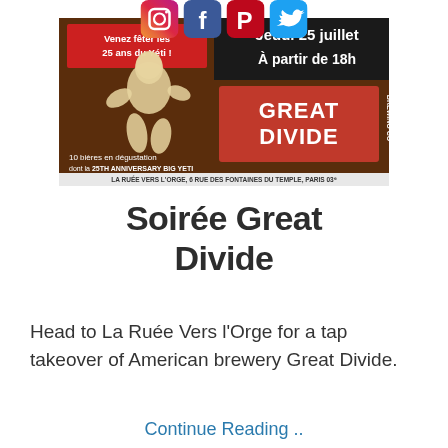[Figure (infographic): Social media icons: Instagram, Facebook, Pinterest, Twitter arranged horizontally at top]
[Figure (infographic): Great Divide Brewing Co. event poster. Brown background with large Yeti silhouette. Text: 'Venez fêter les 25 ans du Yéti!', 'Jeudi 25 juillet', 'À partir de 18h', '10 bières en dégustation dont la 25TH ANNIVERSARY BIG YETI', 'LA RUÉE VERS L'ORGE, 6 RUE DES FONTAINES DU TEMPLE, PARIS 03e'. Great Divide Brewing Co. logo in red and white.]
Soirée Great Divide
Head to La Ruée Vers l'Orge for a tap takeover of American brewery Great Divide.
Continue Reading ..